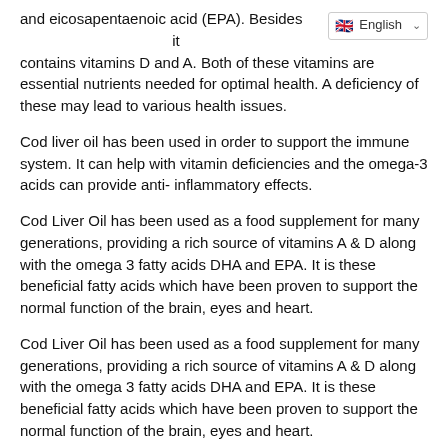and eicosapentaenoic acid (EPA). Besides it contains vitamins D and A. Both of these vitamins are essential nutrients needed for optimal health. A deficiency of these may lead to various health issues.
Cod liver oil has been used in order to support the immune system. It can help with vitamin deficiencies and the omega-3 acids can provide anti-inflammatory effects.
Cod Liver Oil has been used as a food supplement for many generations, providing a rich source of vitamins A & D along with the omega 3 fatty acids DHA and EPA. It is these beneficial fatty acids which have been proven to support the normal function of the brain, eyes and heart.
Cod Liver Oil has been used as a food supplement for many generations, providing a rich source of vitamins A & D along with the omega 3 fatty acids DHA and EPA. It is these beneficial fatty acids which have been proven to support the normal function of the brain, eyes and heart.
The high content of vital nutrients found in cod liver oil improves the state of the immune system and overall health of our bodies. The fatty acids help support the blood and circulation. Vitamin D in cod liver oil ensures that body can process the calcium from dietary intake more efficiently, which can lead to improved bone strength. Vitamin A further supports the bone health, as well as assists in keeping a